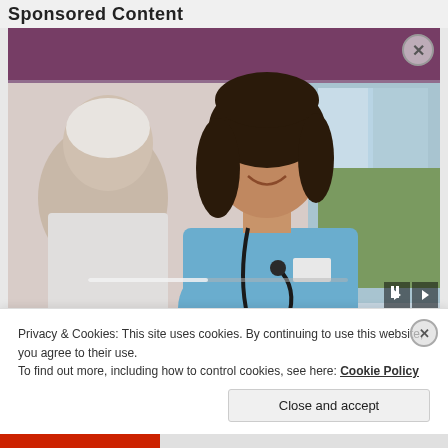Sponsored Content
[Figure (photo): A smiling female nurse in blue scrubs with a stethoscope attending to an elderly patient in a care facility setting, with a purple curtain and window in the background. Media player controls visible on the right side.]
medilodge of rogers city Registered Nurse
Privacy & Cookies: This site uses cookies. By continuing to use this website, you agree to their use.
To find out more, including how to control cookies, see here: Cookie Policy
Close and accept